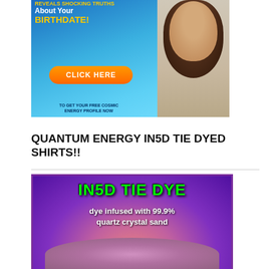[Figure (illustration): Advertisement banner: 'Ancient Calendar Reveals Shocking Truths About Your BIRTHDATE! CLICK HERE TO GET YOUR FREE COSMIC ENERGY PROFILE NOW' with a woman in a light sweater and cosmic background]
QUANTUM ENERGY IN5D TIE DYED SHIRTS!!
[Figure (illustration): IN5D Tie Dye advertisement: 'IN5D TIE DYE - dye infused with 99.9% quartz crystal sand' with a tie-dyed shirt image on purple background]